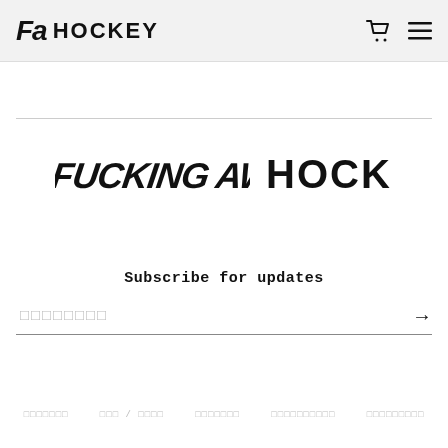FA HOCKEY
[Figure (logo): FUCKING AWESOME and HOCKEY brand logos side by side on white background]
Subscribe for updates
□□□□□□□□ (email input field with arrow button)
□□□□□□□   □□□ / □□□□   □□□□□□□   □□□□□□□□□□   □□□□□□□□□